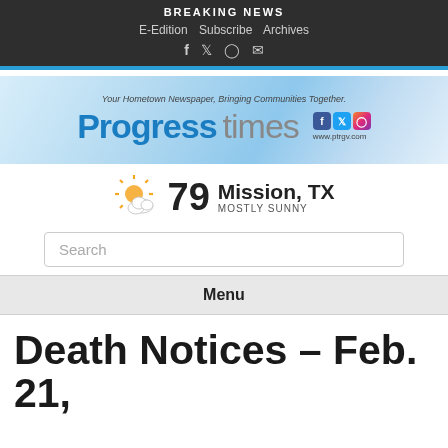BREAKING NEWS
E-Edition   Subscribe   Archives
[Figure (logo): Progress Times newspaper logo banner with tagline 'Your Hometown Newspaper, Bringing Communities Together.' and social media icons, www.ptrgv.com]
79  Mission, TX  MOSTLY SUNNY
Search
Menu
Death Notices – Feb. 21,